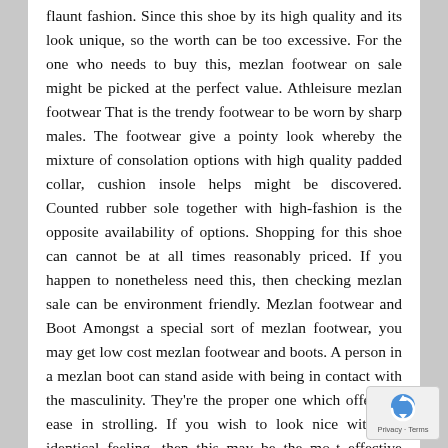flaunt fashion. Since this shoe by its high quality and its look unique, so the worth can be too excessive. For the one who needs to buy this, mezlan footwear on sale might be picked at the perfect value. Athleisure mezlan footwear That is the trendy footwear to be worn by sharp males. The footwear give a pointy look whereby the mixture of consolation options with high quality padded collar, cushion insole helps might be discovered. Counted rubber sole together with high-fashion is the opposite availability of options. Shopping for this shoe can cannot be at all times reasonably priced. If you happen to nonetheless need this, then checking mezlan sale can be environment friendly. Mezlan footwear and Boot Amongst a special sort of mezlan footwear, you may get low cost mezlan footwear and boots. A person in a mezlan boot can stand aside with being in contact with the masculinity. They're the proper one which offers an ease in strolling. If you wish to look nice with the identical feeling, then this may be the most effective choices you'd discover. Unique Having totally different high quality and types of the mezlan unique,